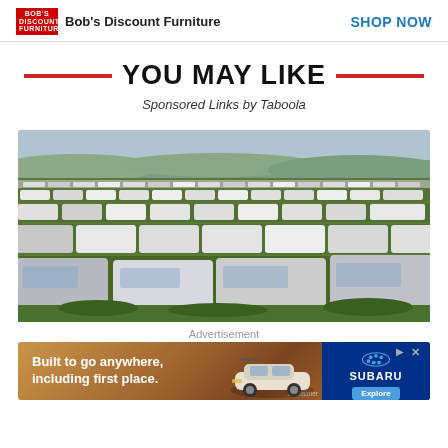Bob's Discount Furniture   SHOP NOW
YOU MAY LIKE
Sponsored Links by Taboola
[Figure (photo): Aerial/wide view of a large field packed with hundreds of white SUVs and pickup trucks parked in rows on grass]
Advertisement
[Figure (photo): Subaru advertisement banner: 'Built to go anywhere, including first place.' with a white Subaru SUV and Subaru logo with Explore button]